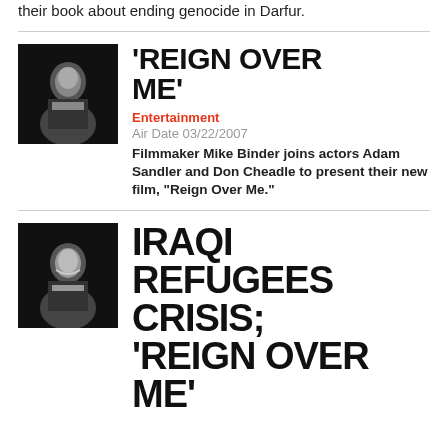their book about ending genocide in Darfur.
[Figure (photo): Headshot of a man in dark jacket against black background]
'REIGN OVER ME'
Entertainment
Air Date 03/22/2007
Filmmaker Mike Binder joins actors Adam Sandler and Don Cheadle to present their new film, "Reign Over Me."
[Figure (photo): Headshot of a man smiling in dark jacket against black background]
IRAQI REFUGEES CRISIS; 'REIGN OVER ME'